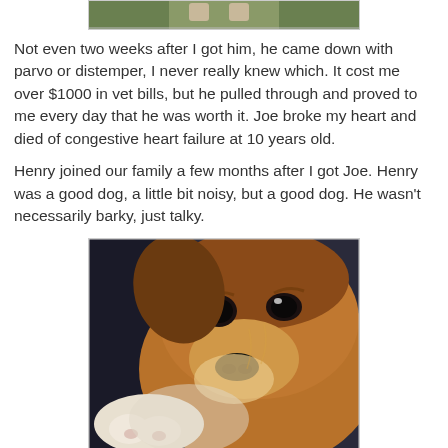[Figure (photo): Partial view of a dog photo at the top of the page, cropped, showing feet/legs on grass]
Not even two weeks after I got him, he came down with parvo or distemper, I never really knew which. It cost me over $1000 in vet bills, but he pulled through and proved to me every day that he was worth it. Joe broke my heart and died of congestive heart failure at 10 years old.
Henry joined our family a few months after I got Joe. Henry was a good dog, a little bit noisy, but a good dog. He wasn't necessarily barky, just talky.
[Figure (photo): Close-up photo of a brown/tan dog lying down, resting its head, with soulful dark eyes looking at the camera]
He was very intelligent, which was a good thing because he certainly wasn't pretty. He had a tendency to get fat until